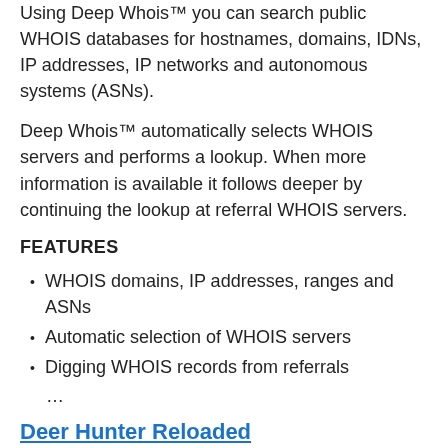Using Deep Whois™ you can search public WHOIS databases for hostnames, domains, IDNs, IP addresses, IP networks and autonomous systems (ASNs).
Deep Whois™ automatically selects WHOIS servers and performs a lookup. When more information is available it follows deeper by continuing the lookup at referral WHOIS servers.
FEATURES
WHOIS domains, IP addresses, ranges and ASNs
Automatic selection of WHOIS servers
Digging WHOIS records from referrals
...
Deer Hunter Reloaded